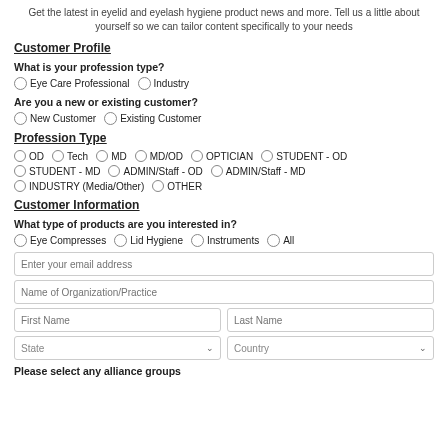Get the latest in eyelid and eyelash hygiene product news and more. Tell us a little about yourself so we can tailor content specifically to your needs
Customer Profile
What is your profession type?
Eye Care Professional
Industry
Are you a new or existing customer?
New Customer
Existing Customer
Profession Type
OD
Tech
MD
MD/OD
OPTICIAN
STUDENT - OD
STUDENT - MD
ADMIN/Staff - OD
ADMIN/Staff - MD
INDUSTRY (Media/Other)
OTHER
Customer Information
What type of products are you interested in?
Eye Compresses
Lid Hygiene
Instruments
All
Enter your email address
Name of Organization/Practice
First Name
Last Name
State
Country
Please select any alliance groups